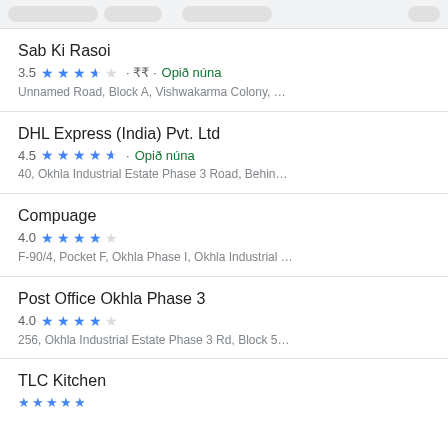Sab Ki Rasoi
3.5 ★★★★☆ · ₹₹ · Opið núna
Unnamed Road, Block A, Vishwakarma Colony, …
DHL Express (India) Pvt. Ltd
4.5 ★★★★★ · Opið núna
40, Okhla Industrial Estate Phase 3 Road, Behin…
Compuage
4.0 ★★★★★
F-90/4, Pocket F, Okhla Phase I, Okhla Industrial …
Post Office Okhla Phase 3
4.0 ★★★★★
256, Okhla Industrial Estate Phase 3 Rd, Block 5…
TLC Kitchen